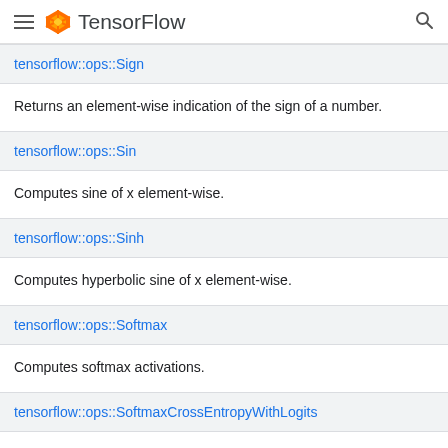TensorFlow
tensorflow::ops::Sign
Returns an element-wise indication of the sign of a number.
tensorflow::ops::Sin
Computes sine of x element-wise.
tensorflow::ops::Sinh
Computes hyperbolic sine of x element-wise.
tensorflow::ops::Softmax
Computes softmax activations.
tensorflow::ops::SoftmaxCrossEntropyWithLogits
Computes softmax cross entropy cost and gradients to backpropagate.
tensorflow::ops::Softplus